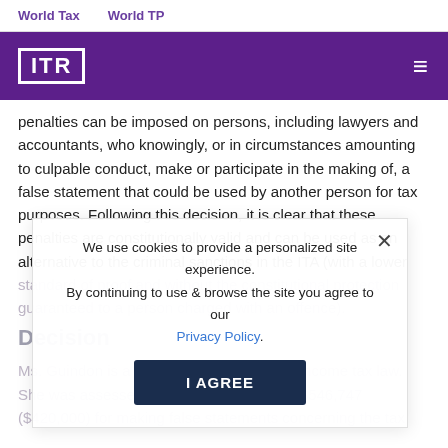World Tax    World TP
[Figure (logo): ITR (International Tax Review) logo on purple header bar with hamburger menu icon]
penalties can be imposed on persons, including lawyers and accountants, who knowingly, or in circumstances amounting to culpable conduct, make or participate in the making of, a false statement that could be used by another person for tax purposes. Following this decision, it is clear that these penalties are constitutionally valid and can be used as an alternative to the criminal sanctions in the ITA (with a lower standard of proof and without the constitutional protection guaranteed to a person charged with an offence).
Decision
We use cookies to provide a personalized site experience. By continuing to use & browse the site you agree to our Privacy Policy.
Ms. Guindon is a lawyer who specialise in income tax law. She was assessed for penalties totalling C$546,747 ($420,000) for making false statements concerning the tax